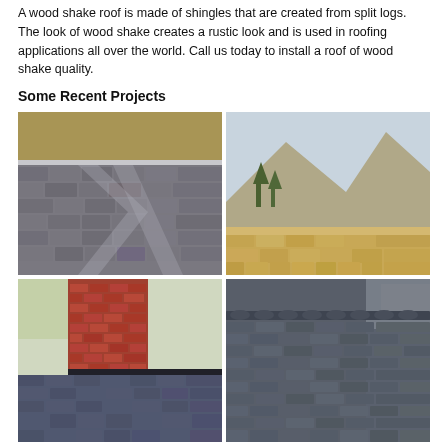A wood shake roof is made of shingles that are created from split logs.  The look of wood shake creates a rustic look and is used in roofing applications all over the world.  Call us today to install a roof of wood shake quality.
Some Recent Projects
[Figure (photo): Photo of a residential roof with gray/brown asphalt shingles showing a ridge and valley detail]
[Figure (photo): Photo of a residential roof with tan/brown asphalt shingles with mountains and trees in the background]
[Figure (photo): Photo of a roof with dark gray/blue asphalt shingles and a red brick chimney]
[Figure (photo): Aerial photo of a dark gray roof with ridge cap shingles running along the peak]